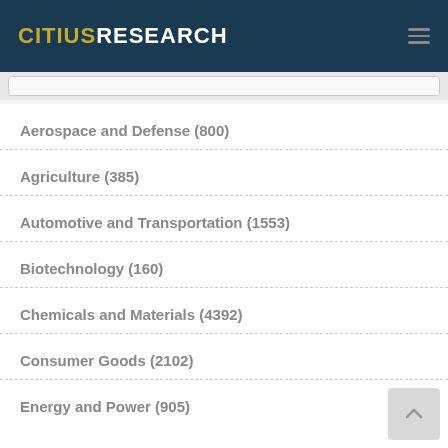CITIUS RESEARCH
Aerospace and Defense (800)
Agriculture (385)
Automotive and Transportation (1553)
Biotechnology (160)
Chemicals and Materials (4392)
Consumer Goods (2102)
Energy and Power (905)